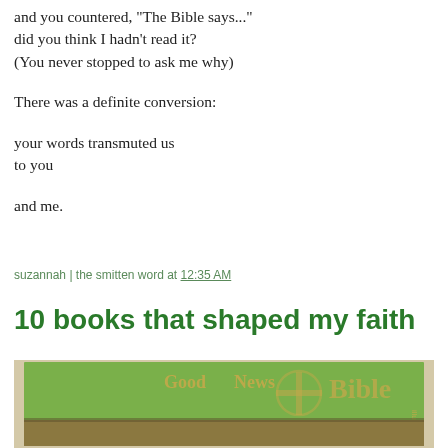and you countered, "The Bible says..."
did you think I hadn't read it?
(You never stopped to ask me why)
There was a definite conversion:
your words transmuted us
to you
and me.
suzannah | the smitten word at 12:35 AM
10 books that shaped my faith
[Figure (photo): Photo of a green Good News Bible (illustrated) spine resting on top of another book, photographed from above at an angle.]